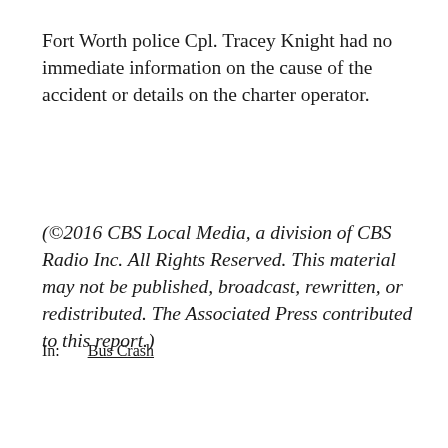Fort Worth police Cpl. Tracey Knight had no immediate information on the cause of the accident or details on the charter operator.
(©2016 CBS Local Media, a division of CBS Radio Inc. All Rights Reserved. This material may not be published, broadcast, rewritten, or redistributed. The Associated Press contributed to this report.)
In:   Bus Crash